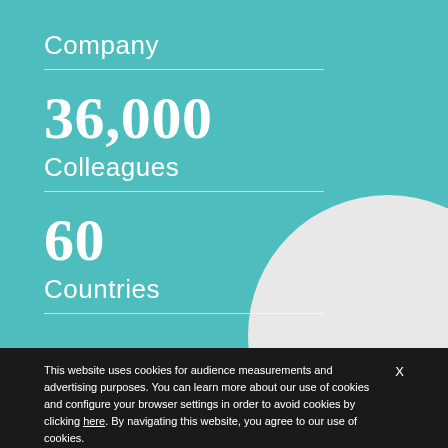Company
36,000
Colleagues
60
Countries
This website uses cookies for audience measurements and advertising purposes. You can learn more about our use of cookies and configure your browser settings in order to avoid cookies by clicking here. By navigating this website, you agree to our use of cookies. X